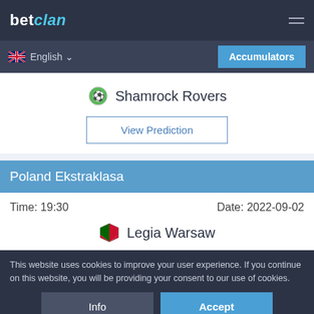betclan
English
Accumulators
Shamrock Rovers
View Prediction
Poland Ekstraklasa
Time: 19:30   Date: 2022-09-02
Legia Warsaw
This website uses cookies to improve your user experience. If you continue on this website, you will be providing your consent to our use of cookies.
Info
Accept